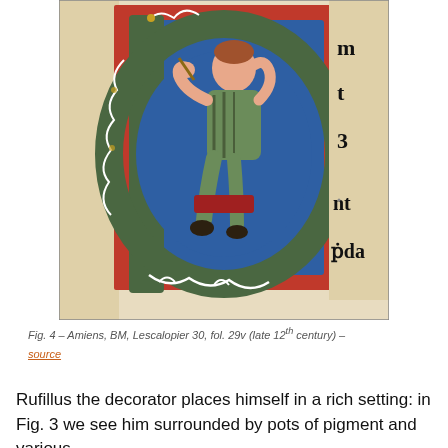[Figure (illustration): Medieval illuminated manuscript image showing a figure seated inside a large decorated initial letter 'D', painted in red, green, blue and gold. The figure appears to be a scribe or decorator holding an instrument. Gothic black letter text is partially visible on the right edge.]
Fig. 4 – Amiens, BM, Lescalopier 30, fol. 29v (late 12th century) – source
Rufillus the decorator places himself in a rich setting: in Fig. 3 we see him surrounded by pots of pigment and various